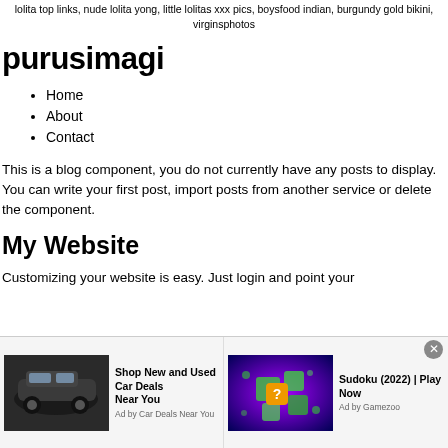lolita top links, nude lolita yong, little lolitas xxx pics, boysfood indian, burgundy gold bikini, virginsphotos
purusimagi
Home
About
Contact
This is a blog component, you do not currently have any posts to display. You can write your first post, import posts from another service or delete the component.
My Website
Customizing your website is easy. Just login and point your
[Figure (other): Advertisement banner at bottom of page containing two ad units: 1) Car ad showing dark SUV with text 'Shop New and Used Car Deals Near You' by Car Deals Near You; 2) Game ad showing colorful puzzle game with text 'Sudoku (2022) | Play Now' by Gamezoo. Close button (x) in top right corner.]